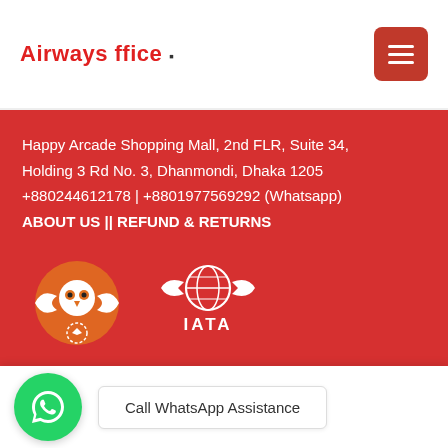Airways Office
Happy Arcade Shopping Mall, 2nd FLR, Suite 34, Holding 3 Rd No. 3, Dhanmondi, Dhaka 1205
+880244612178 | +8801977569292 (Whatsapp)
ABOUT US || REFUND & RETURNS
[Figure (logo): ATAB (Association of Travel Agents of Bangladesh) logo and IATA logo side by side on red background]
Copyright Reserved By zooFamily - Travel Agents Community & Its Organisers: Airways Office | Travelzoo BD Ltd | zoo IT | Travel News BD | Airlines Office
Call WhatsApp Assistance